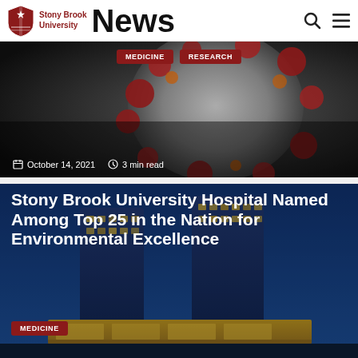Stony Brook University News
[Figure (photo): Close-up 3D render of coronavirus particle with red spike proteins on dark background]
MEDICINE  RESEARCH
October 14, 2021  3 min read
[Figure (photo): Stony Brook University Hospital building at dusk with blue sky, showing two cylindrical towers and illuminated entrance]
Stony Brook University Hospital Named Among Top 25 in the Nation for Environmental Excellence
MEDICINE